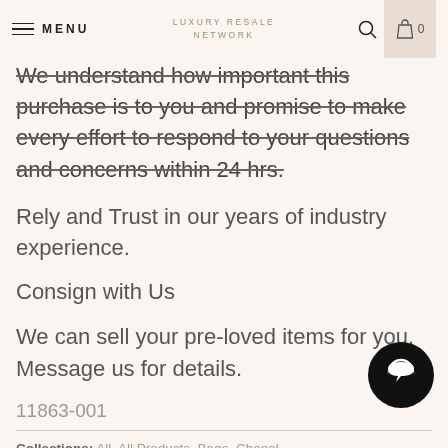MENU | LUXURY RESALE NETWORK | 0
We understand how important this purchase is to you and promise to make every effort to respond to your questions and concerns within 24 hrs.
Rely and Trust in our years of industry experience.
Consign with Us
We can sell your pre-loved items for you. Message us for details.
11863-001
Collections: All, All Products, Bags, Chanel,
NEW ARRIVALS, NEW ARRIVALS FEED, Women